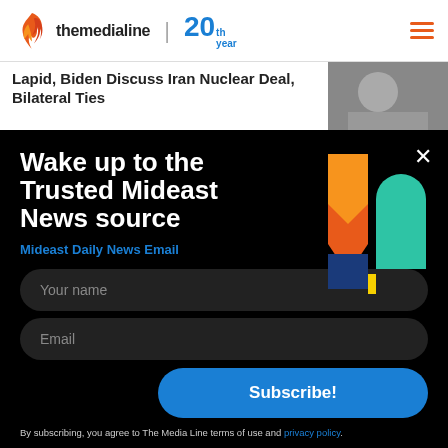[Figure (logo): The Media Line logo with flame icon and 20th year badge]
Lapid, Biden Discuss Iran Nuclear Deal, Bilateral Ties
Wake up to the Trusted Mideast News source
Mideast Daily News Email
Your name
Email
Subscribe!
By subscribing, you agree to The Media Line terms of use and privacy policy.